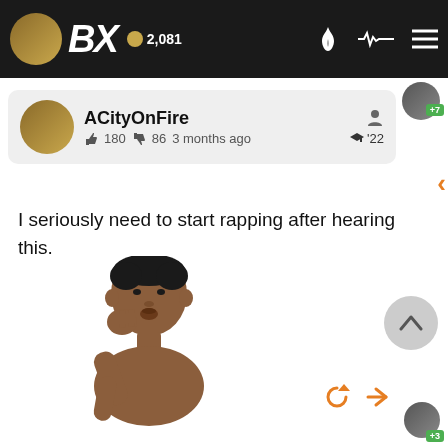BX 2,081
ACityOnFire
👍 180  86  3 months ago  '22
I seriously need to start rapping after hearing this.
[Figure (photo): A young Black man with a thoughtful/pensive expression, hand raised to chin, cut-out photo with white background (meme image)]